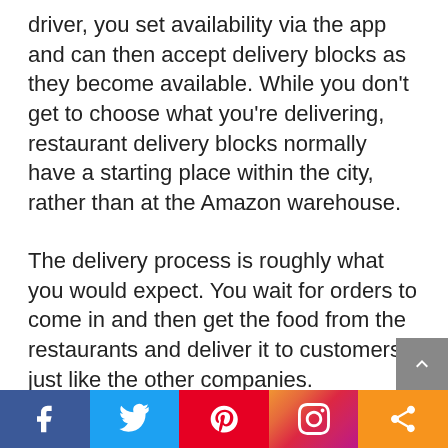driver, you set availability via the app and can then accept delivery blocks as they become available. While you don't get to choose what you're delivering, restaurant delivery blocks normally have a starting place within the city, rather than at the Amazon warehouse.
The delivery process is roughly what you would expect. You wait for orders to come in and then get the food from the restaurants and deliver it to customers, just like the other companies.
Still, there are a couple of unusual features. The first is that you don't seem to be able to refuse deliveries. You need to do all of the